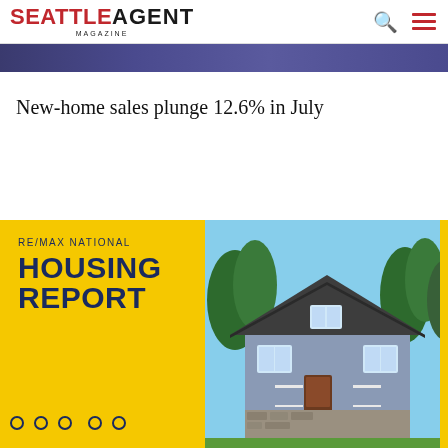SEATTLE AGENT MAGAZINE
[Figure (photo): Dark blue/purple banner strip image at top of page]
New-home sales plunge 12.6% in July
[Figure (photo): RE/MAX National Housing Report advertisement showing yellow left panel with text and a craftsman-style house on the right panel]